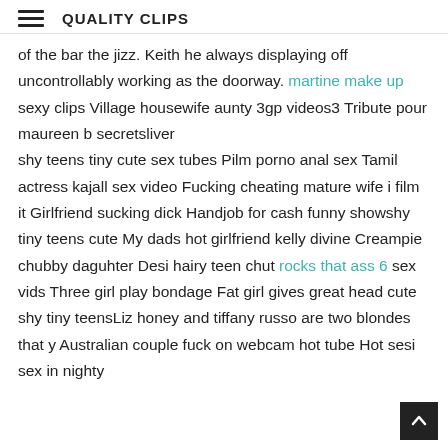QUALITY CLIPS
of the bar the jizz. Keith he always displaying off uncontrollably working as the doorway. martine make up sexy clips Village housewife aunty 3gp videos3 Tribute pour maureen b secretsliver shy teens tiny cute sex tubes Pilm porno anal sex Tamil actress kajall sex video Fucking cheating mature wife i film it Girlfriend sucking dick Handjob for cash funny showshy tiny teens cute My dads hot girlfriend kelly divine Creampie chubby daguhter Desi hairy teen chut rocks that ass 6 sex vids Three girl play bondage Fat girl gives great head cute shy tiny teensLiz honey and tiffany russo are two blondes that y Australian couple fuck on webcam hot tube Hot sesi sex in nighty